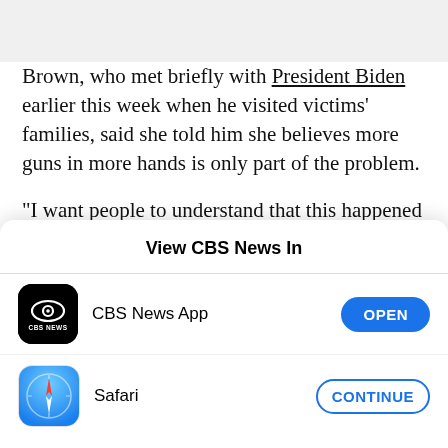Brown, who met briefly with President Biden earlier this week when he visited victims' families, said she told him she believes more guns in more hands is only part of the problem.

"I want people to understand that this happened and it should make you want to come together so we can
[Figure (screenshot): iOS app selection sheet titled 'View CBS News In' with two options: CBS News App (with OPEN button) and Safari (with CONTINUE button)]